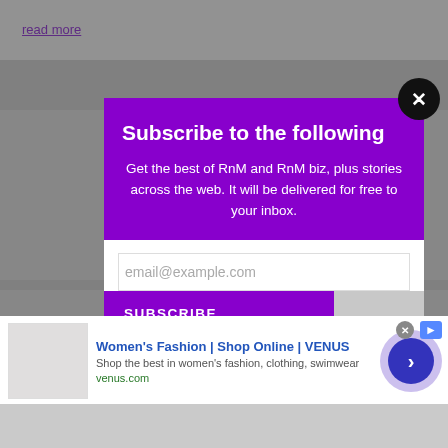read more
[Figure (screenshot): Screenshot of a news/entertainment website page with a subscribe modal popup overlay, article thumbnails in background, and an advertisement banner at the bottom. The popup has a purple background with white text 'Subscribe to the following' and an email subscription form.]
Subscribe to the following
Get the best of RnM and RnM biz, plus stories across the web. It will be delivered for free to your inbox.
email@example.com
SUBSCRIBE
Women's Fashion | Shop Online | VENUS
Shop the best in women's fashion, clothing, swimwear
venus.com